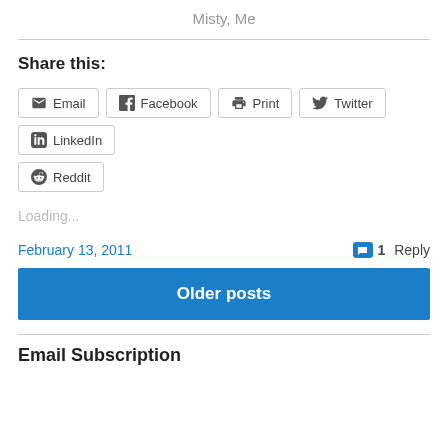Misty, Me
Share this:
Email  Facebook  Print  Twitter  LinkedIn  Reddit
Loading...
February 13, 2011
1 Reply
Older posts
Email Subscription